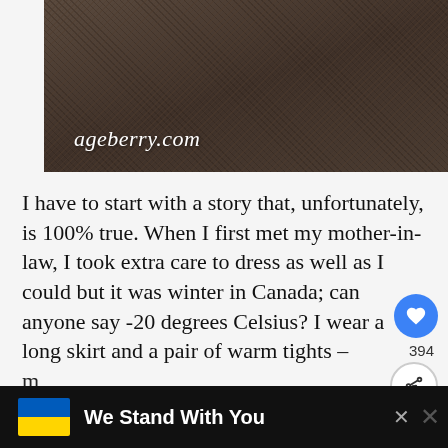[Figure (photo): Close-up photo of brown/dark fabric texture with watermark text 'ageberry.com' in italic white font at lower left]
I have to start with a story that, unfortunately, is 100% true. When I first met my mother-in-law, I took extra care to dress as well as I could but it was winter in Canada; can anyone say -20 degrees Celsius? I wear a long skirt and a pair of warm tights – my favorite pair of black tights. All
We Stand With You